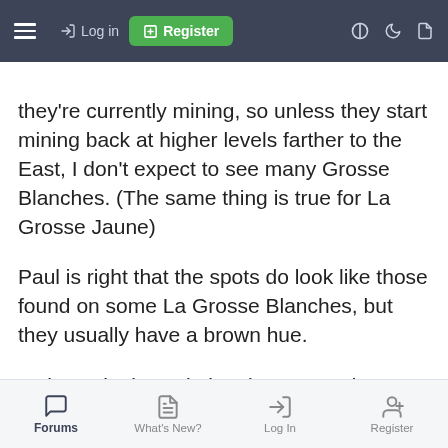Log in | Register
they're currently mining, so unless they start mining back at higher levels farther to the East, I don't expect to see many Grosse Blanches. (The same thing is true for La Grosse Jaune)
Paul is right that the spots do look like those found on some La Grosse Blanches, but they usually have a brown hue.
It almost looks as it the slurry stone is trimmed off the main stone.
That really is all I can tell you.
Kind regards,
Forums | What's New? | Log In | Register